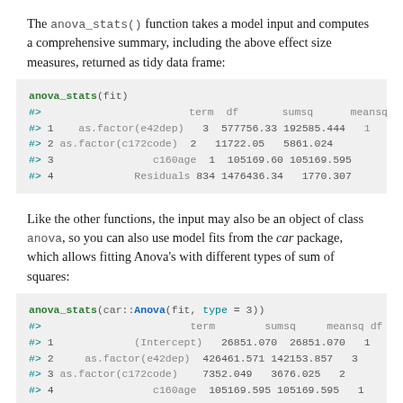The anova_stats() function takes a model input and computes a comprehensive summary, including the above effect size measures, returned as tidy data frame:
[Figure (screenshot): R code block showing anova_stats(fit) call and output table with columns term, df, sumsq, meansq, sta and rows for as.factor(e42dep), as.factor(c172code), c160age, Residuals]
Like the other functions, the input may also be an object of class anova, so you can also use model fits from the car package, which allows fitting Anova's with different types of sum of squares:
[Figure (screenshot): R code block showing anova_stats(car::Anova(fit, type = 3)) call and output table with columns term, sumsq, meansq, df, st and rows for (Intercept), as.factor(e42dep), as.factor(c172code), c160age]